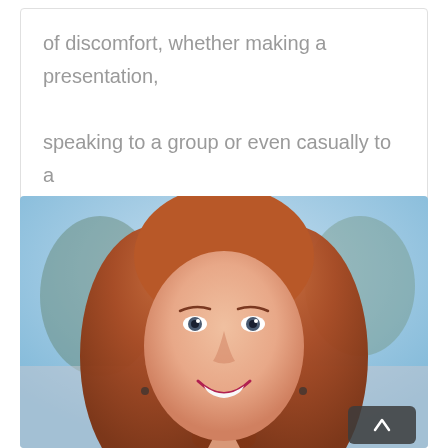of discomfort, whether making a presentation, speaking to a group or even casually to a friend or family member. You [...]
[Figure (photo): Close-up portrait photo of a smiling woman with long auburn/red hair, outdoors with a blurred blue sky and trees in the background. A dark scroll-to-top button with a caret/chevron icon is visible in the lower-right corner of the image.]